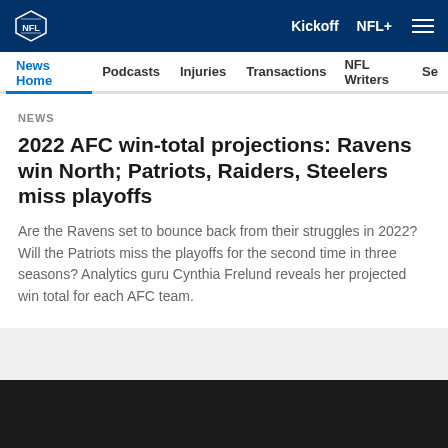NFL navigation bar with logo, Kickoff, NFL+, and hamburger menu
News Home | Podcasts | Injuries | Transactions | NFL Writers | Se
NEWS
2022 AFC win-total projections: Ravens win North; Patriots, Raiders, Steelers miss playoffs
Are the Ravens set to bounce back from their struggles in 2022? Will the Patriots miss the playoffs for the second time in three seasons? Analytics guru Cynthia Frelund reveals her projected win total for each AFC team.
[Figure (photo): Dark/black background image area at bottom of article card]
[Figure (infographic): Social sharing icons: Facebook, Twitter, Email, Link/chain]